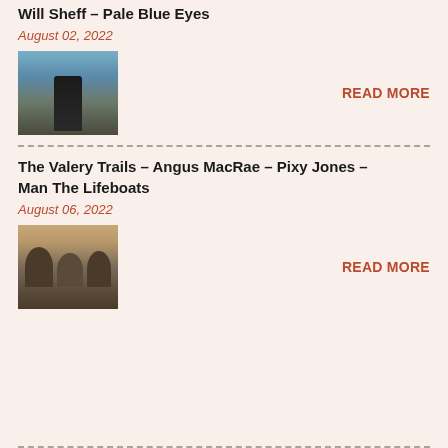Will Sheff – Pale Blue Eyes
August 02, 2022
[Figure (photo): Photo of a person standing in a mountainous landscape, wearing a dark jacket, viewed from behind or side]
READ MORE
The Valery Trails – Angus MacRae – Pixy Jones – Man The Lifeboats
August 06, 2022
[Figure (photo): Photo of a group of three people seated indoors, casual setting]
READ MORE